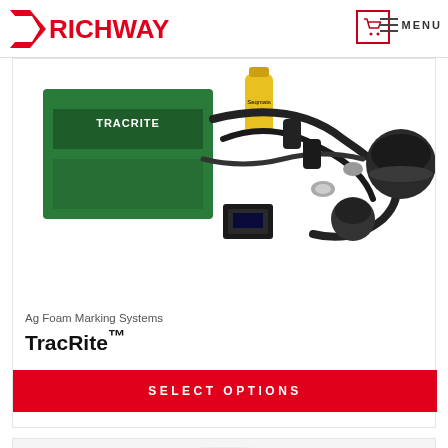RICHWAY
[Figure (photo): TracRite foam marking system kit showing a green controller box labeled TRACRITE, black hoses and cables, connectors, and foam marking applicator heads on a white background]
Ag Foam Marking Systems
TracRite™
SELECT OPTIONS
[Figure (photo): Partial view of another agricultural product, showing mechanical components on a white background]